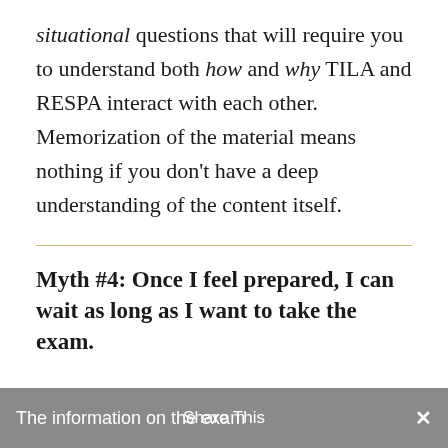situational questions that will require you to understand both how and why TILA and RESPA interact with each other. Memorization of the material means nothing if you don't have a deep understanding of the content itself.
Myth #4: Once I feel prepared, I can wait as long as I want to take the exam.
The information on the exam